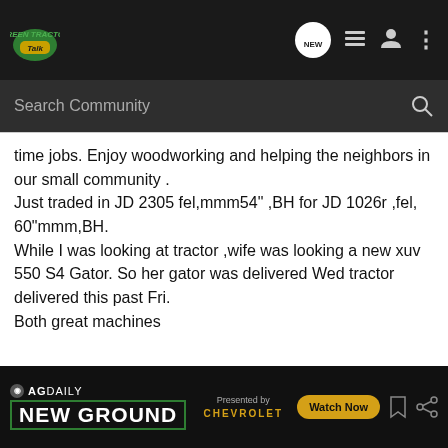Green Tractor Talk — Search Community
time jobs. Enjoy woodworking and helping the neighbors in our small community .
Just traded in JD 2305 fel,mmm54" ,BH for JD 1026r ,fel, 60"mmm,BH.
While I was looking at tractor ,wife was looking a new xuv 550 S4 Gator. So her gator was delivered Wed tractor delivered this past Fri.
Both great machines
Gene
[Figure (screenshot): AG Daily New Ground advertisement banner with Chevrolet branding and Watch Now button]